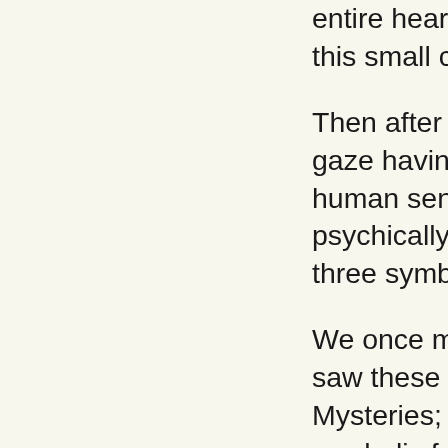entire heart team... this small circle of... Then after a majest... gaze having been f... human sense, so th... psychically, with th... three symbolic ves... We once made use... saw these three ve... Mysteries; but the e... symbolic form, a sa... these three vessels... we shall speak furt... uttered into the sm... three Kabiri. They a... fashioned itself, an... which was incorpo...